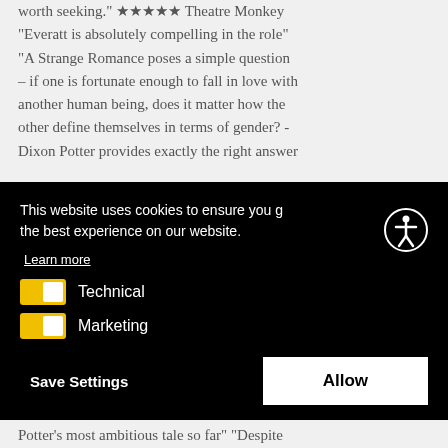worth seeking." ★★★★★ Theatre Monkey "Everatt is absolutely compelling in the role" "A Strange Romance poses a simple question – if one is fortunate enough to fall in love with another human being, does it matter how the other define themselves in terms of gender? - Dixon Potter provides exactly the right answer
[Figure (screenshot): Cookie consent banner with black background. Contains text 'This website uses cookies to ensure you get the best experience on our website.', a 'Learn more' link, two toggle switches (yellow) for 'Technical' and 'Marketing', and two buttons: 'Save Settings' and 'Allow'. An accessibility icon (person in circle) appears in the top right.]
Potter's most ambitious tale so far" "Despite